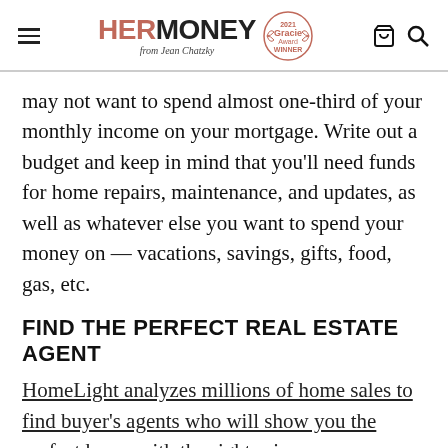HER MONEY from Jean Chatzky — 2021 Gracie Award Winner
may not want to spend almost one-third of your monthly income on your mortgage. Write out a budget and keep in mind that you'll need funds for home repairs, maintenance, and updates, as well as whatever else you want to spend your money on — vacations, savings, gifts, food, gas, etc.
FIND THE PERFECT REAL ESTATE AGENT
HomeLight analyzes millions of home sales to find buyer's agents who will show you the perfect home with the right price.